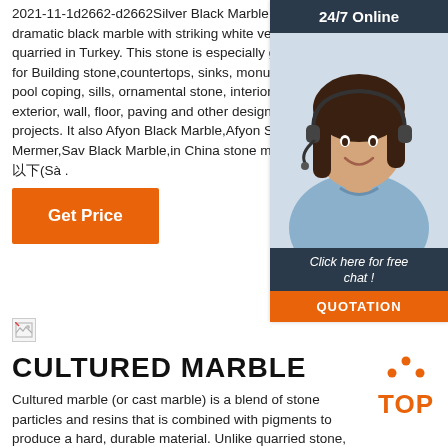2021-11-1d2662-d2662Silver Black Marble is a dramatic black marble with striking white veins quarried in Turkey. This stone is especially good for Building stone,countertops, sinks, monuments, pool coping, sills, ornamental stone, interior, exterior, wall, floor, paving and other design projects. It also Afyon Black Marble,Afyon Siyah Mermer,Sav Black Marble,in China stone market:(Sà .
[Figure (other): 24/7 Online chat widget with woman wearing headset, dark navy header, 'Click here for free chat!' footer, and orange QUOTATION button]
[Figure (other): Orange 'Get Price' button]
[Figure (other): Broken image placeholder icon]
CULTURED MARBLE
Cultured marble (or cast marble) is a blend of stone particles and resins that is combined with pigments to produce a hard, durable material. Unlike quarried stone, cultured marble is cast in moulds which allows
[Figure (logo): Orange TOP logo with triangular dot pattern above the word TOP]